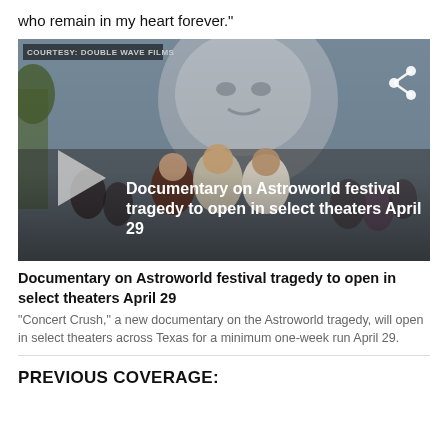who remain in my heart forever."
[Figure (photo): Video thumbnail showing three young men posing together in front of a large face sculpture at Astroworld festival, with a crowd in the background. Overlay text reads: 'Documentary on Astroworld festival tragedy to open in select theaters April 29'. A play button is visible on the left, and a share icon on the upper right. Courtesy: Double Wave Films tag in upper left.]
Documentary on Astroworld festival tragedy to open in select theaters April 29
"Concert Crush," a new documentary on the Astroworld tragedy, will open in select theaters across Texas for a minimum one-week run April 29.
PREVIOUS COVERAGE: